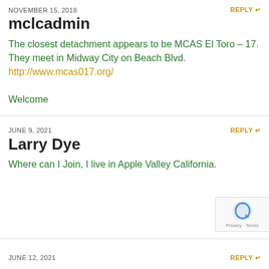NOVEMBER 15, 2018
REPLY
mclcadmin
The closest detachment appears to be MCAS El Toro – 17. They meet in Midway City on Beach Blvd.
http://www.mcas017.org/

Welcome
JUNE 9, 2021
REPLY
Larry Dye
Where can I Join, I live in Apple Valley California.
JUNE 12, 2021
REPLY